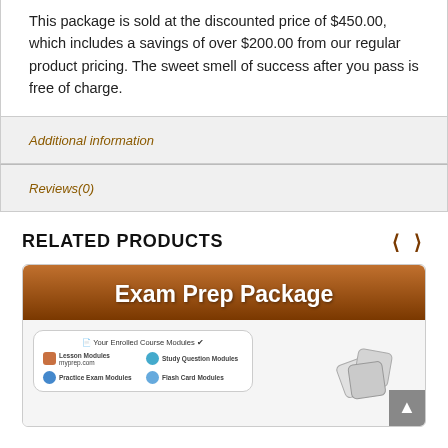This package is sold at the discounted price of $450.00, which includes a savings of over $200.00 from our regular product pricing. The sweet smell of success after you pass is free of charge.
Additional information
Reviews(0)
RELATED PRODUCTS
[Figure (screenshot): Exam Prep Package product card with brown header and course module screenshot showing Lesson Modules, Study Question Modules, Practice Exam Modules, Flash Card Modules]